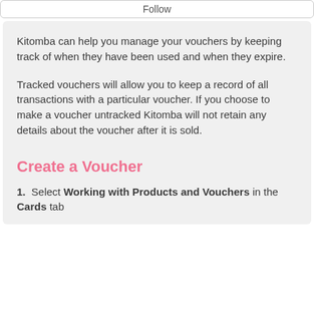Follow
Kitomba can help you manage your vouchers by keeping track of when they have been used and when they expire.
Tracked vouchers will allow you to keep a record of all transactions with a particular voucher. If you choose to make a voucher untracked Kitomba will not retain any details about the voucher after it is sold.
Create a Voucher
1.  Select Working with Products and Vouchers in the Cards tab